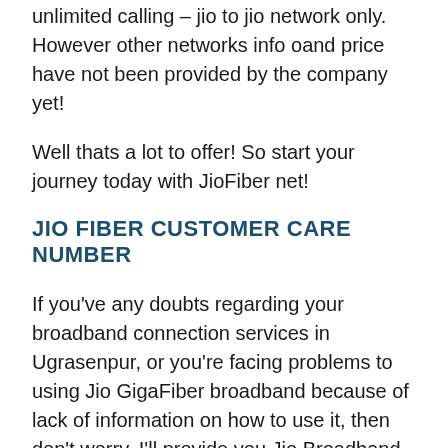unlimited calling – jio to jio network only. However other networks info oand price have not been provided by the company yet!
Well thats a lot to offer! So start your journey today with JioFiber net!
JIO FIBER CUSTOMER CARE NUMBER
If you've any doubts regarding your broadband connection services in Ugrasenpur, or you're facing problems to using Jio GigaFiber broadband because of lack of information on how to use it, then don't worry. I'll provide you Jio Broadband Toll-free number for Ugrasenpur. Just